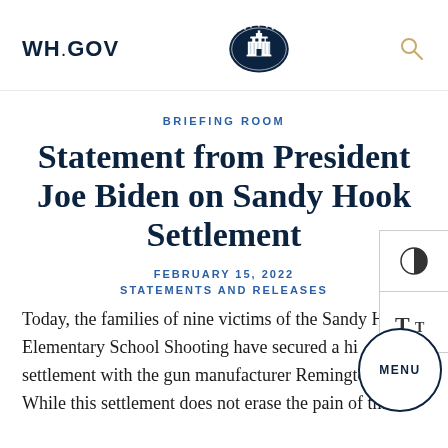WH.GOV
BRIEFING ROOM
Statement from President Joe Biden on Sandy Hook Settlement
FEBRUARY 15, 2022
STATEMENTS AND RELEASES
Today, the families of nine victims of the Sandy Hook Elementary School Shooting have secured a historic settlement with the gun manufacturer Remington. While this settlement does not erase the pain of that